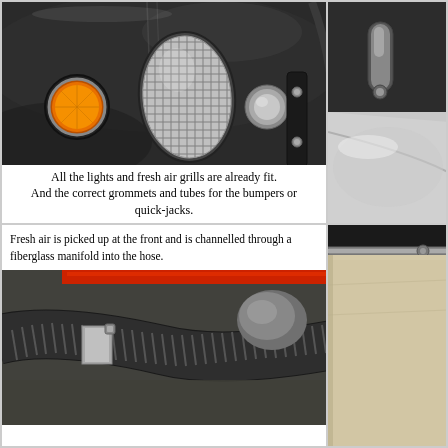[Figure (photo): Close-up of black car body panel showing an orange round turn signal light, an oval chrome mesh fresh air grill, a round unpainted bumper grommet tube, and a black bracket with two bolts near the wheel arch.]
All the lights and fresh air grills are already fit. And the correct grommets and tubes for the bumpers or quick-jacks.
[Figure (photo): Partial view of car bodywork, showing a curved grey/silver fender or wing panel against a light background.]
Fresh air is picked up at the front and is channelled through a fiberglass manifold into the hose.
[Figure (photo): Close-up of a black corrugated flexible hose with a metal hose clamp, set against a dark foam/fiberglass surface, with a red element visible at the top.]
[Figure (photo): Partial interior view showing beige/cream carpet or mat and a metal rod or bar near the edge.]